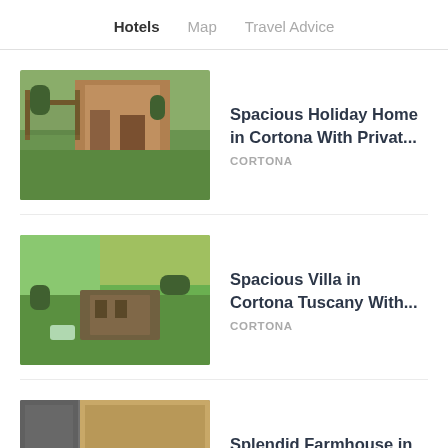Hotels  Map  Travel Advice
[Figure (photo): Exterior view of a stone holiday home in Cortona with a pergola and green lawn]
Spacious Holiday Home in Cortona With Privat...
CORTONA
[Figure (photo): Aerial view of a villa in Cortona, Tuscany, surrounded by green fields with a pool]
Spacious Villa in Cortona Tuscany With...
CORTONA
[Figure (photo): Interior kitchen of a farmhouse in Cortona with stainless steel appliances]
Splendid Farmhouse in Cortona With Swimmin...
CORTONA